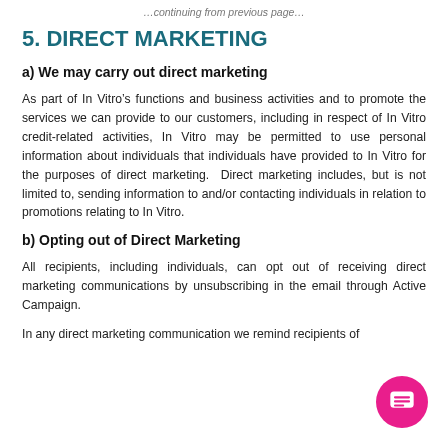…continuing from previous page…
5. DIRECT MARKETING
a) We may carry out direct marketing
As part of In Vitro's functions and business activities and to promote the services we can provide to our customers, including in respect of In Vitro credit-related activities, In Vitro may be permitted to use personal information about individuals that individuals have provided to In Vitro for the purposes of direct marketing.  Direct marketing includes, but is not limited to, sending information to and/or contacting individuals in relation to promotions relating to In Vitro.
b) Opting out of Direct Marketing
All recipients, including individuals, can opt out of receiving direct marketing communications by unsubscribing in the email through Active Campaign.
In any direct marketing communication we remind recipients of